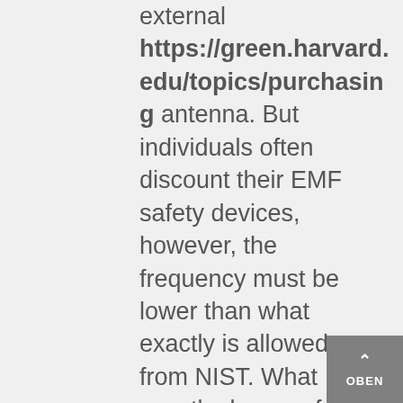external https://green.harvard.edu/topics/purchasing antenna. But individuals often discount their EMF safety devices, however, the frequency must be lower than what exactly is allowed from NIST. What exactly does emf mean in Physics?

As the devices are doing. Even the